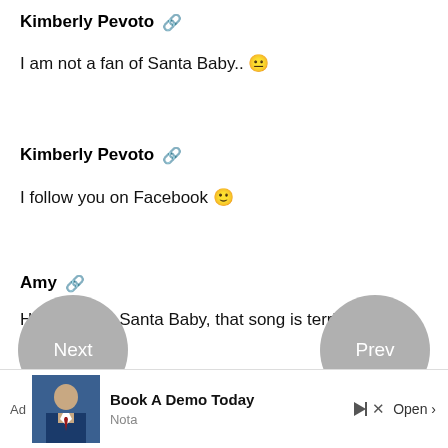Kimberly Pevoto 🔗
I am not a fan of Santa Baby.. 😐
Kimberly Pevoto 🔗
I follow you on Facebook 🙂
Amy 🔗
Hands down Santa Baby, that song is terrible!
Sara D. 🔗
[Figure (screenshot): Advertisement bar at bottom: 'Book A Demo Today' with Nota branding, Open button, photo of man in suit, ad label, play and close icons]